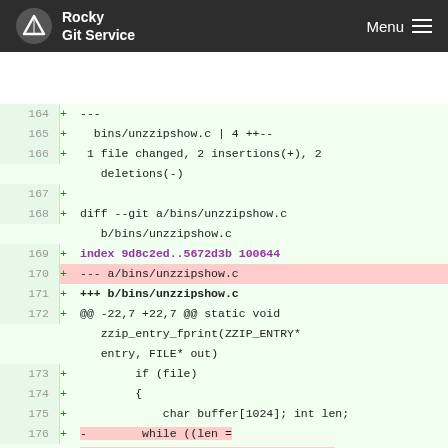Rocky Git Service  Menu
[Figure (screenshot): Git diff view showing lines 164-177 of a patch for bins/unzzipshow.c, displayed in a web-based git service interface with green background diff lines and pink highlighted deletion markers.]